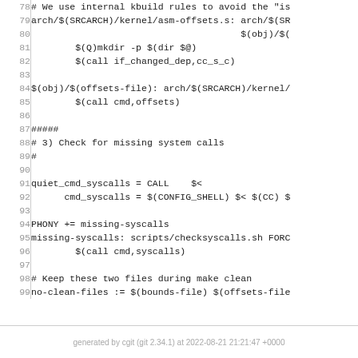Code listing lines 78-99 of a Makefile/kbuild script
generated by cgit (git 2.34.1) at 2022-08-21 21:21:47 +0000